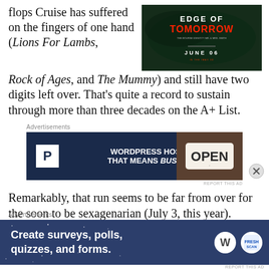flops Cruise has suffered on the fingers of one hand (Lions For Lambs, Rock of Ages, and The Mummy) and still have two digits left over. That’s quite a record to sustain through more than three decades on the A+ List.
[Figure (photo): Edge of Tomorrow movie poster/banner showing dark green tones with the title 'EDGE OF TOMORROW' in bold white and red letters, 'JUNE 06' text, and tagline referencing The Bourne Identity and Mr. & Mrs. Smith]
Advertisements
[Figure (screenshot): WordPress hosting advertisement banner on dark navy background: white P logo box, text 'WORDPRESS HOSTING THAT MEANS BUSINESS.' in white bold, and an image of an OPEN sign on the right]
REPORT THIS AD
Remarkably, that run seems to be far from over for the soon to be sexagenarian (July 3, this year). While American Made might have done no
Advertisements
[Figure (screenshot): Advertisement on dark blue/navy speckled background: 'Create surveys, polls, quizzes, and forms.' in bold white text. WordPress logo (W in circle) and Fresh Scan logo on the right side.]